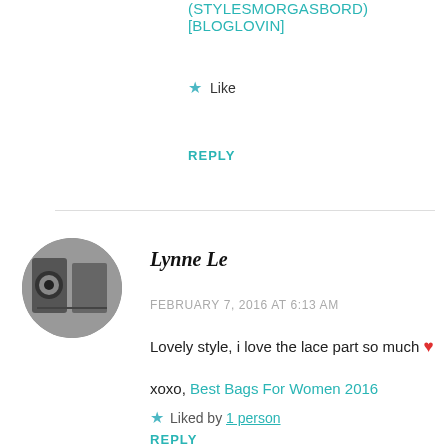(STYLESMORGASBORD) [BLOGLOVIN]
★ Like
REPLY
[Figure (photo): Circular black and white avatar photo of commenter Lynne Le]
Lynne Le
FEBRUARY 7, 2016 AT 6:13 AM
Lovely style, i love the lace part so much ❤
xoxo, Best Bags For Women 2016
★ Liked by 1 person
REPLY